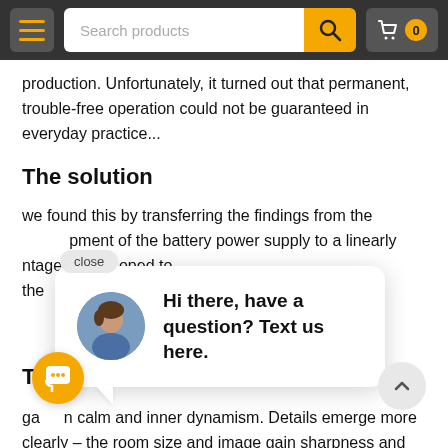[Figure (screenshot): Website navigation bar with hamburger menu, search bar, and cart button (showing 0 items)]
production. Unfortunately, it turned out that permanent, trouble-free operation could not be guaranteed in everyday practice...
The solution
we found this by transferring the findings from the development of the battery power supply to a linearly advantages of the developed to the
[Figure (screenshot): Chat popup overlay with close button, avatar photo of a man, and text: Hi there, have a question? Text us here.]
The sound
gains in calm and inner dynamism. Details emerge more clearly – the room size and image gain sharpness and